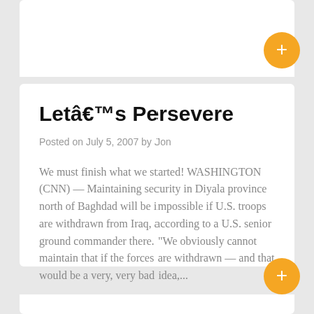Letâ€™s Persevere
Posted on July 5, 2007 by Jon
We must finish what we started! WASHINGTON (CNN) — Maintaining security in Diyala province north of Baghdad will be impossible if U.S. troops are withdrawn from Iraq, according to a U.S. senior ground commander there. "We obviously cannot maintain that if the forces are withdrawn — and that would be a very, very bad idea,...